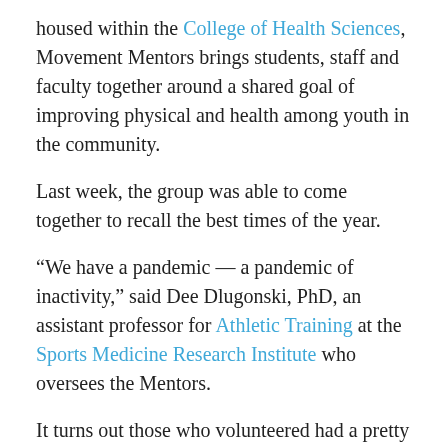housed within the College of Health Sciences, Movement Mentors brings students, staff and faculty together around a shared goal of improving physical and health among youth in the community.
Last week, the group was able to come together to recall the best times of the year.
“We have a pandemic — a pandemic of inactivity,” said Dee Dlugonski, PhD, an assistant professor for Athletic Training at the Sports Medicine Research Institute who oversees the Mentors.
It turns out those who volunteered had a pretty good time making sure this pandemic comes to